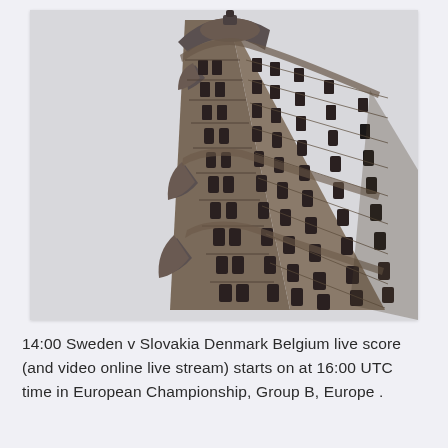[Figure (photo): Black and white photograph of the Flatiron Building in New York City, showing the distinctive triangular wedge-shaped facade from below, with ornate architectural details, arched windows, and decorative cornice against a light gray sky.]
14:00 Sweden v Slovakia Denmark Belgium live score (and video online live stream) starts on at 16:00 UTC time in European Championship, Group B, Europe .